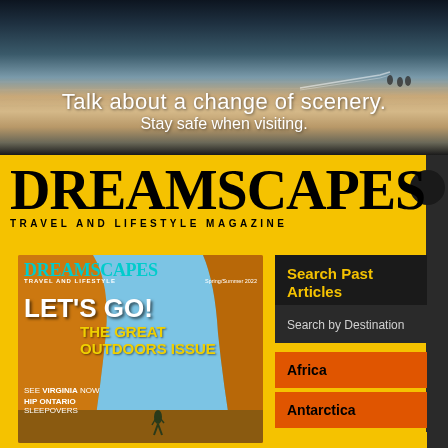[Figure (photo): Aerial or wide-angle photo of a calm water body at sunset/dusk with paddleboarders visible in the distance, warm orange and purple sky tones reflected in still water. Text overlay: 'Talk about a change of scenery. Stay safe when visiting.']
Talk about a change of scenery. Stay safe when visiting.
DREAMSCAPES TRAVEL AND LIFESTYLE MAGAZINE
[Figure (photo): Dreamscapes magazine cover for Spring/Summer issue featuring 'LET'S GO! THE GREAT OUTDOORS ISSUE' with a canyon arch rock formation backdrop and a hiker silhouette. Also mentions 'SEE VIRGINIA NOW' and 'HIP ONTARIO SLEEPOVERS'.]
Search Past Articles
Search by Destination
Africa
Antarctica